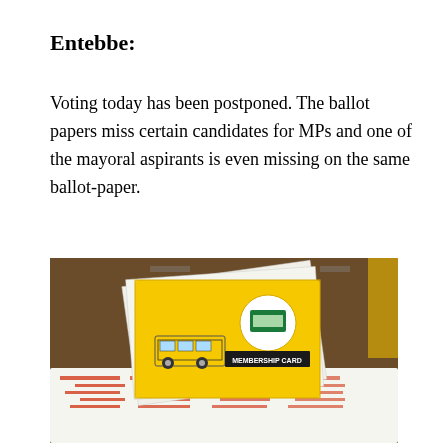Entebbe:
Voting today has been postponed. The ballot papers miss certain candidates for MPs and one of the mayoral aspirants is even missing on the same ballot-paper.
[Figure (photo): A yellow membership card/booklet labeled 'MEMBERSHIP CARD' with a logo showing a building and a bus, placed on top of printed paper documents with red text, on a wooden surface.]